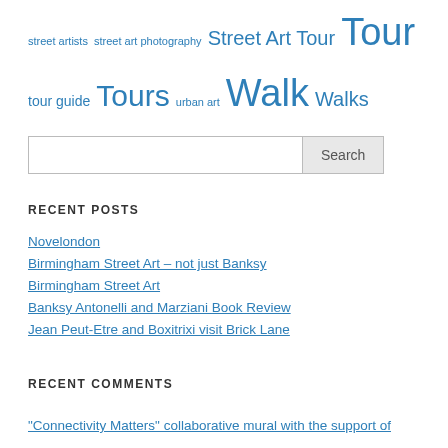street artists  street art photography  Street Art Tour  Tour  tour guide  Tours  urban art  Walk  Walks
[Figure (screenshot): Search input box with Search button]
RECENT POSTS
Novelondon
Birmingham Street Art – not just Banksy
Birmingham Street Art
Banksy Antonelli and Marziani Book Review
Jean Peut-Etre and Boxitrixi visit Brick Lane
RECENT COMMENTS
"Connectivity Matters" collaborative mural with the support of